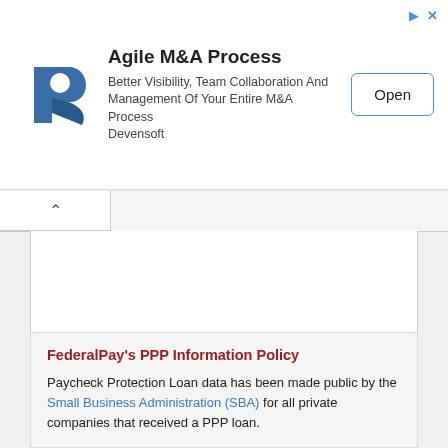[Figure (other): Advertisement banner for Devensoft Agile M&A Process with logo, description text, and Open button]
FederalPay's PPP Information Policy
Paycheck Protection Loan data has been made public by the Small Business Administration (SBA) for all private companies that received a PPP loan.